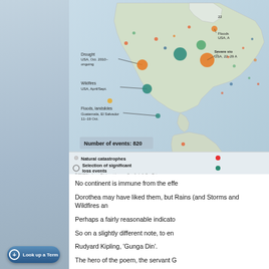[Figure (map): World map showing natural catastrophes and significant loss events in the Americas. Various colored dots mark events including Drought (USA, Oct. 2010–ongoing), Wildfires (USA, April/Sept.), Floods/landslides (Guatemala, El Salvador, 11–19 Oct.), Floods (USA), Severe storms (USA, 22–29 A.). Legend shows Natural catastrophes (red dot) and Selection of significant loss events (green dot). Number of events: 820.]
No continent is immune from the effe
Dorothea may have liked them, but Rains (and Storms and Wildfires an
Perhaps a fairly reasonable indicato
So on a slightly different note, to en
Rudyard Kipling, 'Gunga Din'.
The hero of the poem, the servant G
[Figure (other): Look up a Term button]